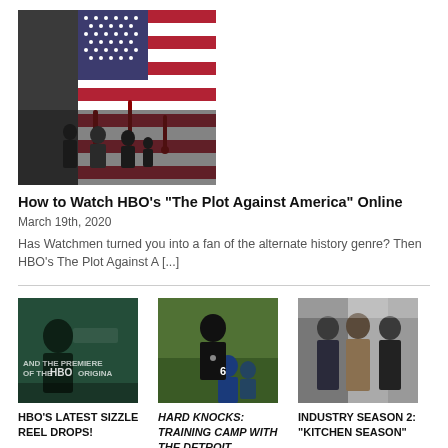[Figure (photo): Movie poster for The Plot Against America — silhouettes of people against a dripping American flag]
How to Watch HBO's "The Plot Against America" Online
March 19th, 2020
Has Watchmen turned you into a fan of the alternate history genre? Then HBO's The Plot Against A [...]
[Figure (photo): HBO sizzle reel promotional image with text AND THE PREMIERE OF THE HBO ORIGINA]
[Figure (photo): Hard Knocks Training Camp with the Detroit — football coach on field]
[Figure (photo): Industry Season 2 Kitchen Season — three men in suits in a corridor]
HBO'S LATEST SIZZLE REEL DROPS!
HARD KNOCKS: TRAINING CAMP WITH THE DETROIT
INDUSTRY SEASON 2: "KITCHEN SEASON"